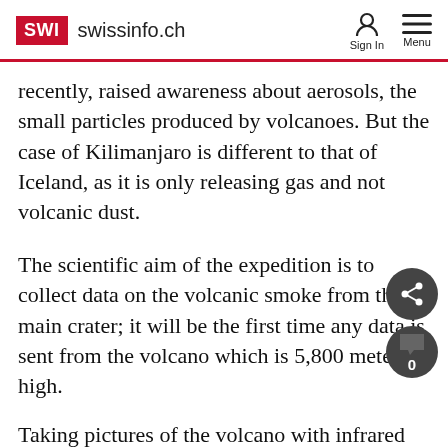SWI swissinfo.ch
recently, raised awareness about aerosols, the small particles produced by volcanoes. But the case of Kilimanjaro is different to that of Iceland, as it is only releasing gas and not volcanic dust.
The scientific aim of the expedition is to collect data on the volcanic smoke from the main crater; it will be the first time any data is sent from the volcano which is 5,800 meters high.
Taking pictures of the volcano with infrared cameras will allow the scientists to study the evolution of the ice cap which covers